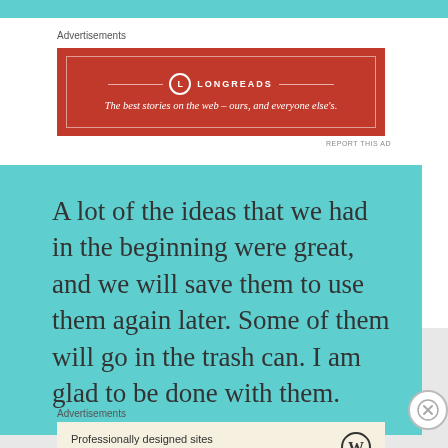Advertisements
[Figure (illustration): Longreads advertisement banner in red: 'The best stories on the web – ours, and everyone else's.']
REPORT THIS AD
A lot of the ideas that we had in the beginning were great, and we will save them to use them again later. Some of them will go in the trash can. I am glad to be done with them.
Advertisements
[Figure (illustration): WordPress advertisement: 'Professionally designed sites in less than a week' with WordPress logo]
REPORT THIS AD